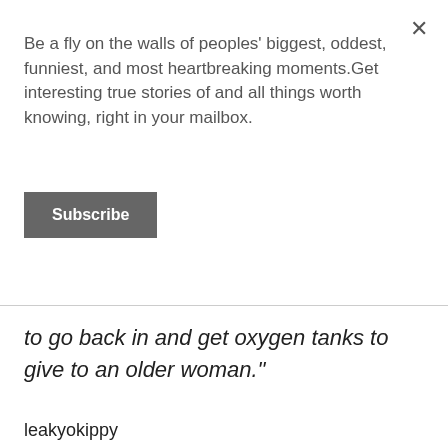Be a fly on the walls of peoples' biggest, oddest, funniest, and most heartbreaking moments.Get interesting true stories of and all things worth knowing, right in your mailbox.
Subscribe
to go back in and get oxygen tanks to give to an older woman."
leakyokippy